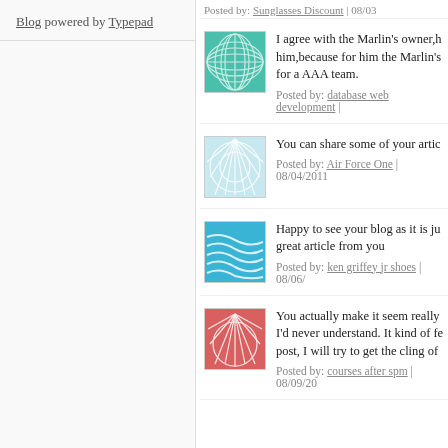Blog powered by Typepad
Posted by: Sunglasses Discount | 08/03
I agree with the Marlin's owner,h him,because for him the Marlin's for a AAA team.
Posted by: database web development |
You can share some of your artic
Posted by: Air Force One | 08/04/2011
Happy to see your blog as it is ju great article from you
Posted by: ken griffey jr shoes | 08/06/
You actually make it seem really I'd never understand. It kind of fe post, I will try to get the cling of
Posted by: courses after spm | 08/09/20